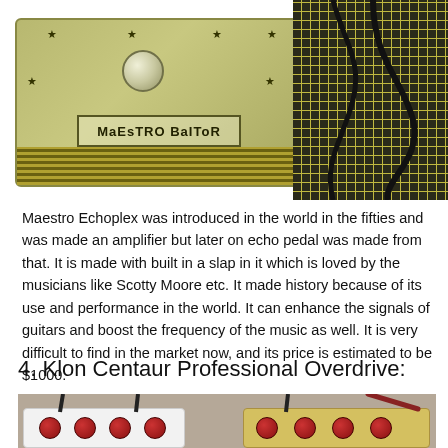[Figure (photo): Close-up photo of a Maestro BaiToR guitar effects pedal with a gold/olive colored body with star decorations, a cream-colored knob on top, a label reading 'MaEsTRO BaIToR', with a dark grid-patterned amplifier grill visible on the right side and horizontal stripes at the bottom.]
Maestro Echoplex was introduced in the world in the fifties and was made an amplifier but later on echo pedal was made from that. It is made with built in a slap in it which is loved by the musicians like Scotty Moore etc. It made history because of its use and performance in the world. It can enhance the signals of guitars and boost the frequency of the music as well. It is very difficult to find in the market now, and its price is estimated to be $1000.
4. Klon Centaur Professional Overdrive:
[Figure (photo): Photo of guitar effects pedals on a carpet surface. On the left is a white pedal with dark red/maroon knobs, and on the right is a yellow/gold pedal with dark red/maroon knobs. Cables are connected to the pedals from the top.]